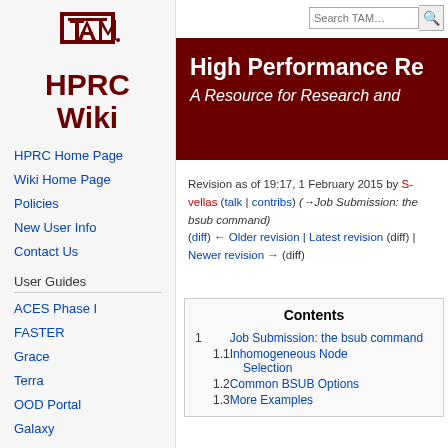Log in
[Figure (logo): Texas A&M University ATM logo with HPRC Wiki text]
HPRC Home Page
Wiki Home Page
Policies
New User Info
Contact Us
User Guides
ACES Phase I
FASTER
Grace
Terra
OOD Portal
Galaxy
High Performance Re... A Resource for Research and...
Revision as of 19:17, 1 February 2015 by S-vellas (talk | contribs) (→Job Submission: the bsub command) (diff) ← Older revision | Latest revision (diff) | Newer revision → (diff)
| Contents |
| --- |
| 1  Job Submission: the bsub command |
| 1.1  Inhomogeneous Node Selection |
| 1.2  Common BSUB Options |
| 1.3  More Examples |